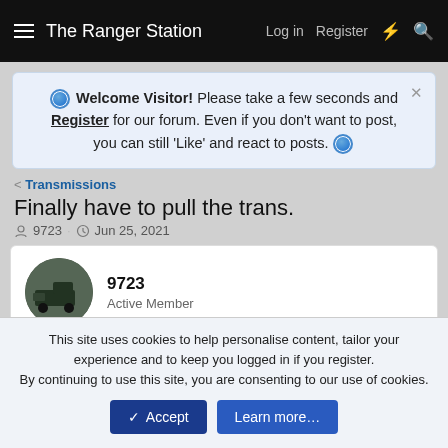The Ranger Station  Log in  Register
Welcome Visitor! Please take a few seconds and Register for our forum. Even if you don't want to post, you can still 'Like' and react to posts.
< Transmissions
Finally have to pull the trans.
9723 · Jun 25, 2021
9723
Active Member
Jul 29, 2021   #151
This site uses cookies to help personalise content, tailor your experience and to keep you logged in if you register.
By continuing to use this site, you are consenting to our use of cookies.